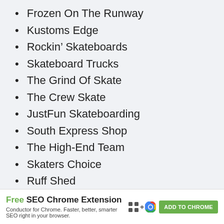Frozen On The Runway
Kustoms Edge
Rockin’ Skateboards
Skateboard Trucks
The Grind Of Skate
The Crew Skate
JustFun Skateboarding
South Express Shop
The High-End Team
Skaters Choice
Ruff Shed
Escape Acks
[Figure (infographic): Advertisement banner: Free SEO Chrome Extension by Conductor. Green ADD TO CHROME button on the right with browser extension icons.]